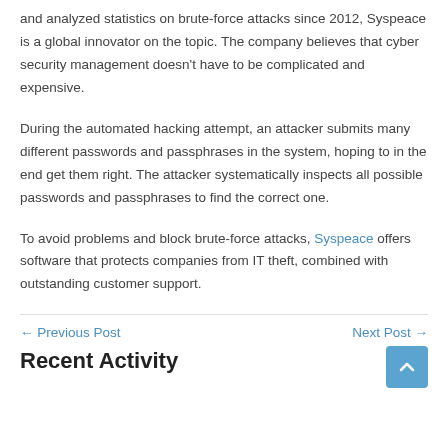and analyzed statistics on brute-force attacks since 2012, Syspeace is a global innovator on the topic. The company believes that cyber security management doesn't have to be complicated and expensive.
During the automated hacking attempt, an attacker submits many different passwords and passphrases in the system, hoping to in the end get them right. The attacker systematically inspects all possible passwords and passphrases to find the correct one.
To avoid problems and block brute-force attacks, Syspeace offers software that protects companies from IT theft, combined with outstanding customer support.
← Previous Post   Next Post →
Recent Activity